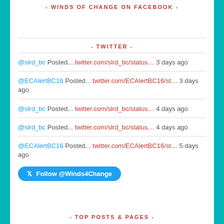- WINDS OF CHANGE ON FACEBOOK -
- TWITTER -
@slrd_bc Posted... twitter.com/slrd_bc/status… 3 days ago
@ECAlertBC16 Posted... twitter.com/ECAlertBC16/st… 3 days ago
@slrd_bc Posted... twitter.com/slrd_bc/status… 4 days ago
@slrd_bc Posted... twitter.com/slrd_bc/status… 4 days ago
@ECAlertBC16 Posted... twitter.com/ECAlertBC16/st… 5 days ago
Follow @Winds4Change
- TOP POSTS & PAGES -